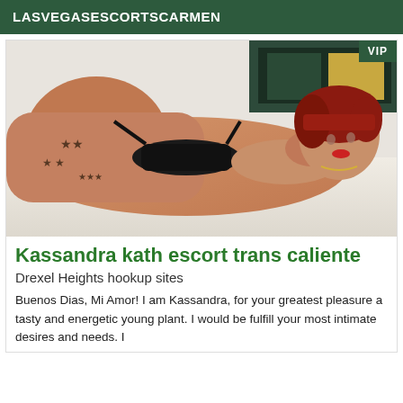LASVEGASESCORTSCARMEN
[Figure (photo): Person in black lingerie lying on a white bed, red hair, with tattoos on legs]
Kassandra kath escort trans caliente
Drexel Heights hookup sites
Buenos Dias, Mi Amor! I am Kassandra, for your greatest pleasure a tasty and energetic young plant. I would be fulfill your most intimate desires and needs. I